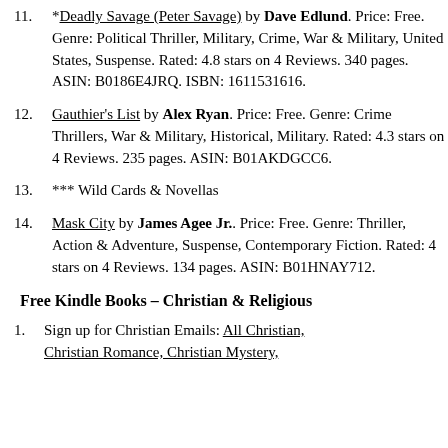11. *Deadly Savage (Peter Savage) by Dave Edlund. Price: Free. Genre: Political Thriller, Military, Crime, War & Military, United States, Suspense. Rated: 4.8 stars on 4 Reviews. 340 pages. ASIN: B0186E4JRQ. ISBN: 1611531616.
12. Gauthier's List by Alex Ryan. Price: Free. Genre: Crime Thrillers, War & Military, Historical, Military. Rated: 4.3 stars on 4 Reviews. 235 pages. ASIN: B01AKDGCC6.
13. *** Wild Cards & Novellas
14. Mask City by James Agee Jr.. Price: Free. Genre: Thriller, Action & Adventure, Suspense, Contemporary Fiction. Rated: 4 stars on 4 Reviews. 134 pages. ASIN: B01HNAY712.
Free Kindle Books – Christian & Religious
1. Sign up for Christian Emails: All Christian, Christian Romance, Christian Mystery,